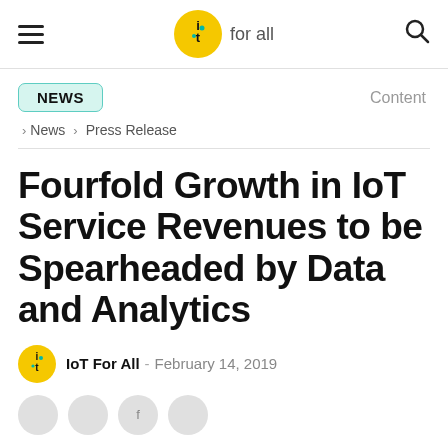IoT For All — navigation header with hamburger menu, IoT for all logo, and search icon
NEWS
Content
> News > Press Release
Fourfold Growth in IoT Service Revenues to be Spearheaded by Data and Analytics
IoT For All - February 14, 2019